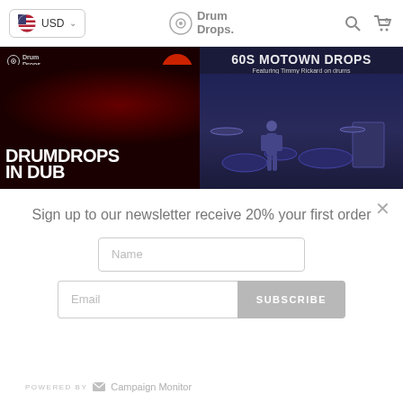USD  Drum Drops.
[Figure (photo): Two product images side by side: left shows Drumdrops In Dub Vol 3 Part 1 album art (dark red/black with text DRUMDROPS IN DUB), right shows 60s Motown Drops featuring Timmy Rickard on drums (blue-toned studio photo with drum kit)]
Sign up to our newsletter receive 20% your first order
Name
Email
SUBSCRIBE
POWERED BY  Campaign Monitor